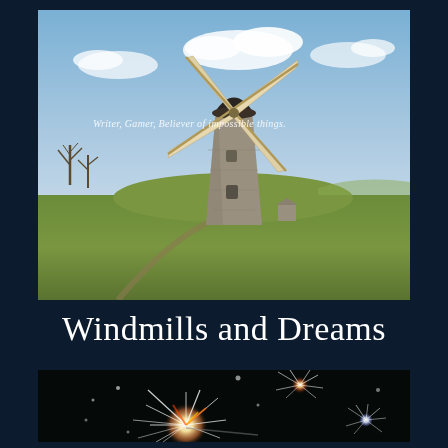[Figure (photo): Photograph of a stone windmill on a grassy hill under a partly cloudy blue sky, with bare trees in the background. Text overlay reads: Writer, Gamer, Believer of impossible things.]
Writer, Gamer, Believer of impossible things.
Windmills and Dreams
[Figure (photo): Dark photograph of sparkling fireworks/sparklers with bright white star-burst light trails against a very dark background.]